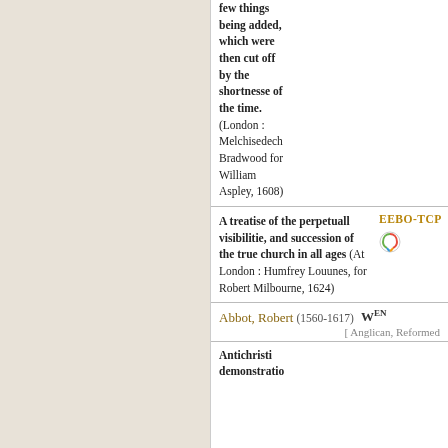few things being added, which were then cut off by the shortnesse of the time. (London : Melchisedech Bradwood for William Aspley, 1608)
A treatise of the perpetuall visibilitie, and succession of the true church in all ages (At London : Humfrey Louunes, for Robert Milbourne, 1624)
EEBO-TCP
Abbot, Robert (1560-1617) W EN [ Anglican, Reformed
Antichristi demonstratio